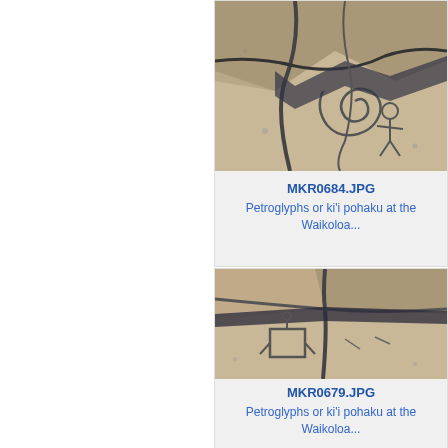[Figure (photo): Photograph of petroglyphs or ki'i pohaku carved into dark volcanic rock at Waikoloa]
MKR0684.JPG
Petroglyphs or ki'i pohaku at the Waikoloa...
[Figure (photo): Photograph of petroglyphs or ki'i pohaku carved into dark volcanic rock at Waikoloa]
MKR0679.JPG
Petroglyphs or ki'i pohaku at the Waikoloa...